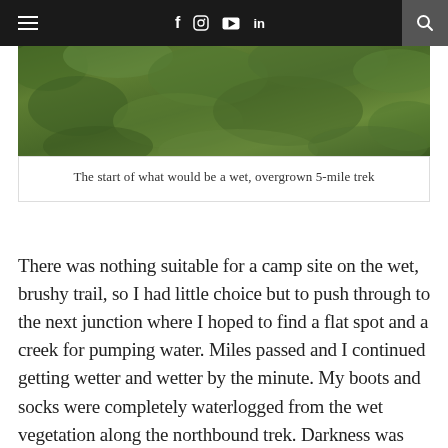Navigation bar with hamburger menu, social icons (f, Instagram, YouTube, in), and search button
[Figure (photo): A lush, overgrown green trail with dense vegetation — the start of a wet, overgrown 5-mile trek.]
The start of what would be a wet, overgrown 5-mile trek
There was nothing suitable for a camp site on the wet, brushy trail, so I had little choice but to push through to the next junction where I hoped to find a flat spot and a creek for pumping water. Miles passed and I continued getting wetter and wetter by the minute. My boots and socks were completely waterlogged from the wet vegetation along the northbound trek. Darkness was looming and I picked up my pace as much as possible, but the slippery roots and rocks hidden by the